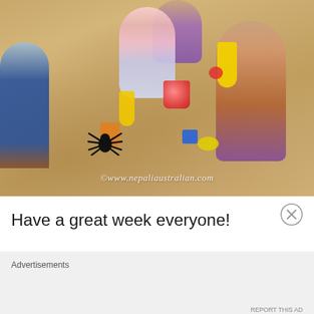[Figure (photo): Children and adults playing in the sand at a beach, with colorful sand toys (yellow shovels, red bucket, orange and blue toys) and a plastic toy spider. A watermark reads '©www.nepaliaustralian.com'.]
Have a great week everyone!
Advertisements